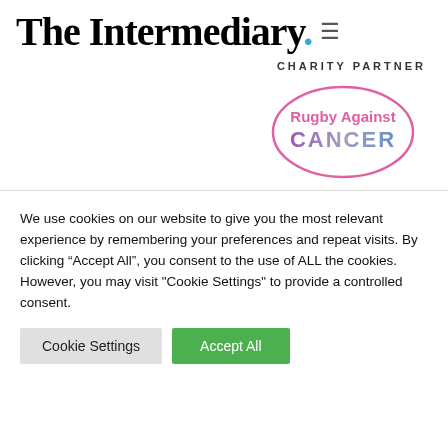The Intermediary.
CHARITY PARTNER
[Figure (logo): Rugby Against Cancer oval logo with pink border, pink text 'Rugby Against' and gradient purple/blue text 'CANCER']
We use cookies on our website to give you the most relevant experience by remembering your preferences and repeat visits. By clicking “Accept All”, you consent to the use of ALL the cookies. However, you may visit "Cookie Settings" to provide a controlled consent.
Cookie Settings
Accept All